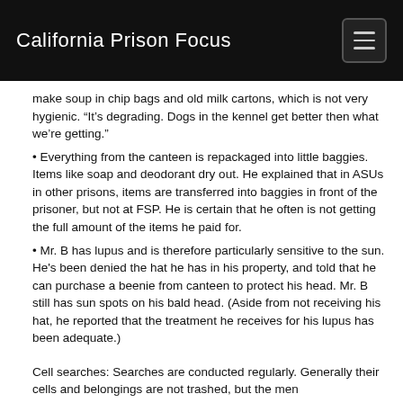California Prison Focus
make soup in chip bags and old milk cartons, which is not very hygienic. “It’s degrading. Dogs in the kennel get better then what we’re getting.”
• Everything from the canteen is repackaged into little baggies. Items like soap and deodorant dry out. He explained that in ASUs in other prisons, items are transferred into baggies in front of the prisoner, but not at FSP. He is certain that he often is not getting the full amount of the items he paid for.
• Mr. B has lupus and is therefore particularly sensitive to the sun. He's been denied the hat he has in his property, and told that he can purchase a beenie from canteen to protect his head. Mr. B still has sun spots on his bald head. (Aside from not receiving his hat, he reported that the treatment he receives for his lupus has been adequate.)
Cell searches: Searches are conducted regularly. Generally their cells and belongings are not trashed, but the men